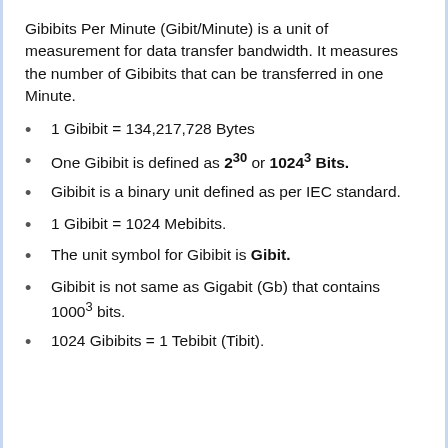Gibibits Per Minute (Gibit/Minute) is a unit of measurement for data transfer bandwidth. It measures the number of Gibibits that can be transferred in one Minute.
1 Gibibit = 134,217,728 Bytes
One Gibibit is defined as 2^30 or 1024^3 Bits.
Gibibit is a binary unit defined as per IEC standard.
1 Gibibit = 1024 Mebibits.
The unit symbol for Gibibit is Gibit.
Gibibit is not same as Gigabit (Gb) that contains 1000^3 bits.
1024 Gibibits = 1 Tebibit (Tibit).